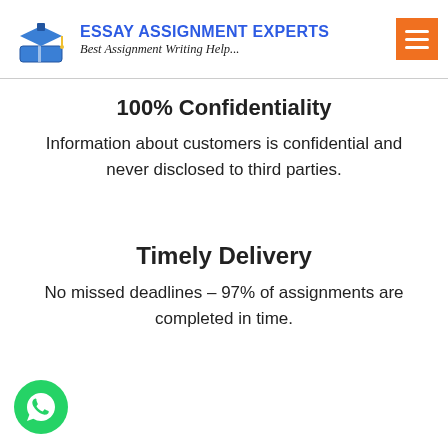[Figure (logo): Essay Assignment Experts logo with graduation cap icon, blue text title 'ESSAY ASSIGNMENT EXPERTS', italic subtitle 'Best Assignment Writing Help...', and orange hamburger menu button]
100% Confidentiality
Information about customers is confidential and never disclosed to third parties.
Timely Delivery
No missed deadlines – 97% of assignments are completed in time.
[Figure (logo): WhatsApp green circular button icon in bottom left corner]